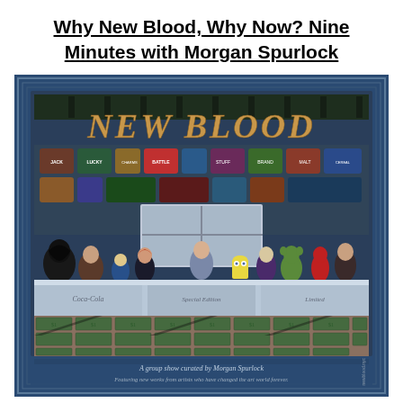Why New Blood, Why Now? Nine Minutes with Morgan Spurlock
[Figure (illustration): Promotional artwork for 'New Blood' — a group show curated by Morgan Spurlock. The image depicts a Last Supper-style composition with fictional/pop-culture characters (Darth Vader, SpongeBob, Joker, Spider-Man, Black Widow, Buzz Lightyear, Shrek, etc.) seated at a long banquet table. Background walls covered in product/cereal brand signs. The floor/base is made of dollar bills stacked like bricks. Large decorative text 'NEW BLOOD' in gold/copper Art Deco lettering at the top. Caption reads: 'A group show curated by Morgan Spurlock' and 'Featuring new works from artists who have changed the art world forever.']